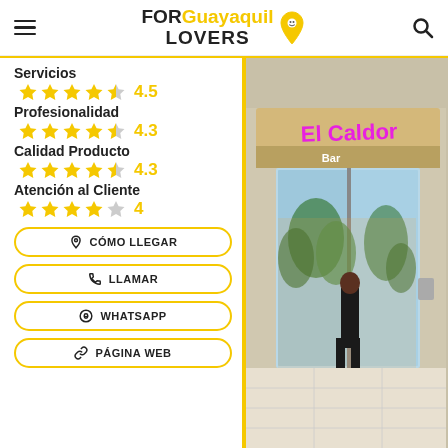FOR Guayaquil LOVERS
Servicios — 4.5 stars (4.5)
Profesionalidad — 4.3 stars (4.3)
Calidad Producto — 4.3 stars (4.3)
Atención al Cliente — 4 stars (4)
CÓMO LLEGAR
LLAMAR
WHATSAPP
PÁGINA WEB
[Figure (photo): Exterior storefront of a shop called 'El Caldor' inside a shopping mall, with glass doors, plants, neon signage, and a person standing near the entrance.]